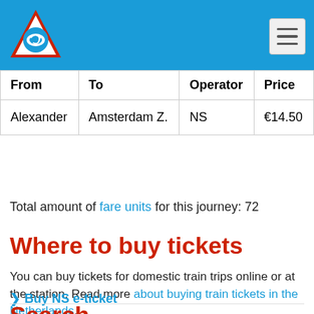[Figure (logo): NS (Dutch Railways) logo: red triangle with a blue train icon]
| From | To | Operator | Price |
| --- | --- | --- | --- |
| Alexander | Amsterdam Z. | NS | €14.50 |
Total amount of fare units for this journey: 72
Where to buy tickets
You can buy tickets for domestic train trips online or at the station. Read more about buying train tickets in the Netherlands.
Buy NS e-ticket
Search